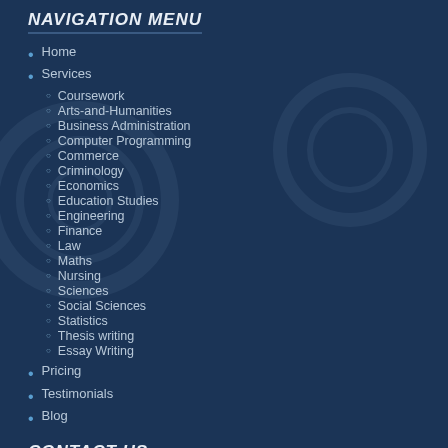NAVIGATION MENU
Home
Services
Coursework
Arts-and-Humanities
Business Administration
Computer Programming
Commerce
Criminology
Economics
Education Studies
Engineering
Finance
Law
Maths
Nursing
Sciences
Social Sciences
Statistics
Thesis writing
Essay Writing
Pricing
Testimonials
Blog
CONTACT US:
support@essayassure.com